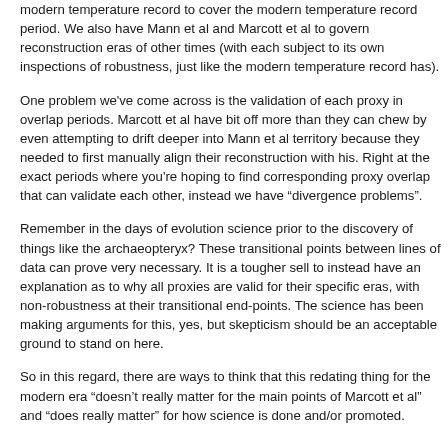modern temperature record to cover the modern temperature record period. We also have Mann et al and Marcott et al to govern reconstruction eras of other times (with each subject to its own inspections of robustness, just like the modern temperature record has).
One problem we've come across is the validation of each proxy in overlap periods. Marcott et al have bit off more than they can chew by even attempting to drift deeper into Mann et al territory because they needed to first manually align their reconstruction with his. Right at the exact periods where you're hoping to find corresponding proxy overlap that can validate each other, instead we have “divergence problems”.
Remember in the days of evolution science prior to the discovery of things like the archaeopteryx? These transitional points between lines of data can prove very necessary. It is a tougher sell to instead have an explanation as to why all proxies are valid for their specific eras, with non-robustness at their transitional end-points. The science has been making arguments for this, yes, but skepticism should be an acceptable ground to stand on here.
So in this regard, there are ways to think that this redating thing for the modern era “doesn’t really matter for the main points of Marcott et al” and “does really matter” for how science is done and/or promoted.